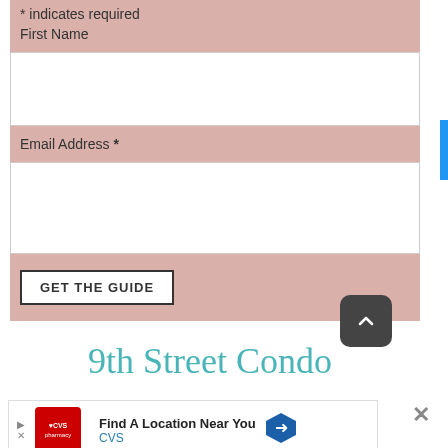* indicates required
First Name
Email Address *
GET THE GUIDE
9th Street Condo
[Figure (screenshot): CVS pharmacy advertisement: Find A Location Near You]